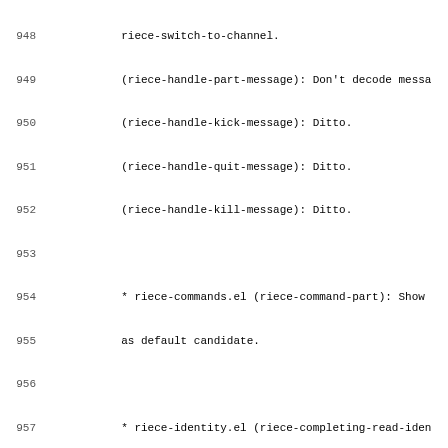948   riece-switch-to-channel.
949   (riece-handle-part-message): Don't decode messa
950   (riece-handle-kick-message): Ditto.
951   (riece-handle-quit-message): Ditto.
952   (riece-handle-kill-message): Ditto.
953
954   * riece-commands.el (riece-command-part): Show
955   as default candidate.
956
957   * riece-identity.el (riece-completing-read-iden
958   optional 5th argument `initial'.
959
960   * riece-unread.el (riece-unread-update-channel-
961   Simplified.
962
963   * riece-filter.el (riece-sentinel): Don't bind
964   riece-inhibit-update-buffers.
965
966   * riece-display.el (riece-redisplay-buffer): Ne
967   (riece-inhibit-update-buffers): Abolish.
968   (riece-update-channel-list-buffer): Memorize
969   encoded identity as text property on each line.
970
971   * riece.el (riece-channel-list-mode): Make riec
972   buffer local.
973   (riece-user-list-mode): Ditto.
974
975 2003-06-22  Yoichi NAKAYAMA  <yoichi@geiin.org>
976
977   * riece-log.el, riece-mini.el, riece-unread.el,
978   Fix example setting, don't use 3rd arg of add-t
979